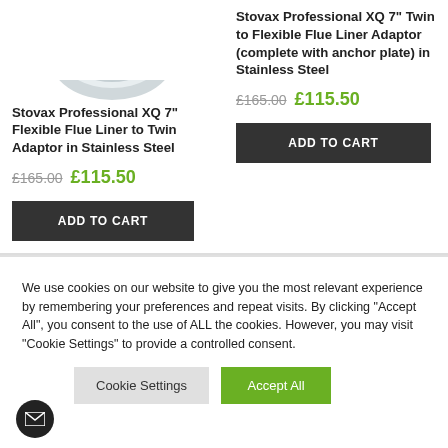[Figure (photo): Partial product image (silver/chrome stainless steel adapter) visible at top left, cropped]
Stovax Professional XQ 7" Flexible Flue Liner to Twin Adaptor in Stainless Steel
£165.00 £115.50
ADD TO CART
Stovax Professional XQ 7" Twin to Flexible Flue Liner Adaptor (complete with anchor plate) in Stainless Steel
£165.00 £115.50
ADD TO CART
We use cookies on our website to give you the most relevant experience by remembering your preferences and repeat visits. By clicking “Accept All”, you consent to the use of ALL the cookies. However, you may visit "Cookie Settings" to provide a controlled consent.
Cookie Settings
Accept All